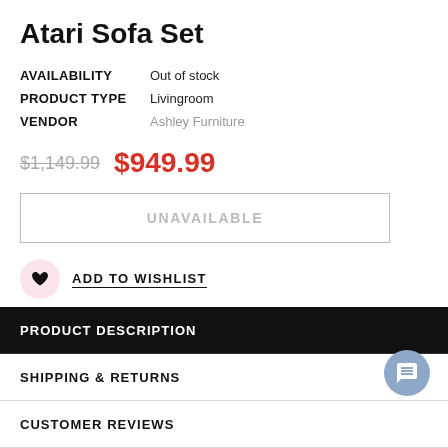Atari Sofa Set
| AVAILABILITY | Out of stock |
| PRODUCT TYPE | Livingroom |
| VENDOR | Ashley Furniture |
$1,149.99  $949.99
UNAVAILABLE
ADD TO WISHLIST
PRODUCT DESCRIPTION
SHIPPING & RETURNS
CUSTOMER REVIEWS